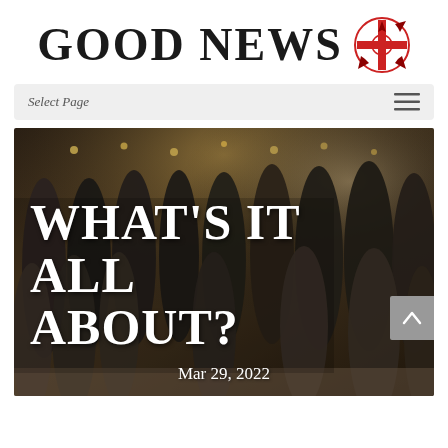GOOD NEWS
Select Page
[Figure (photo): Group photo of approximately 15 people standing together indoors with warm string lights in the background. Text overlay reads WHAT'S IT ALL ABOUT? with date Mar 29, 2022.]